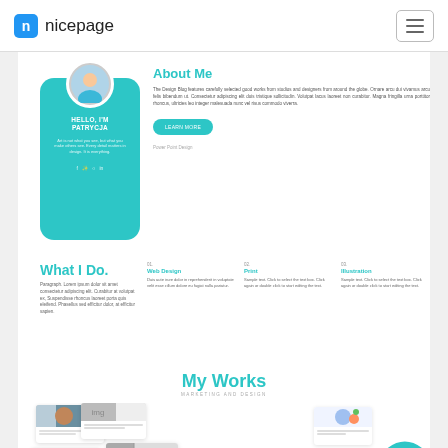nicepage
About Me
The Design Blog features carefully selected good works from studios and designers from around the globe. Ornare arcu dui vivamus arcu felis bibendum ut. Consectetur adipiscing elit duis tristique sollicitudin. Volutpat lacus laoreet non curabitur. Magna fringilla urna porttitor rhoncus, ultricies leo integer malesuada nunc vel risus commodo viverra.
LEARN MORE
Power Point Design
What I Do.
Paragraph. Lorem ipsum dolor sit amet consectetur adipiscing elit. Curabitur at volutpat ex, Suspendisse rhoncus laoreet porta quis eleifend. Phasellus sed efficitur dolor, at efficitur sapien.
01. Web Design
Duis aute irure dolor in reprehenderit in voluptate velit esse cillum dolore eu fugiat nulla pariatur.
02. Print
Sample text. Click to select the text box. Click again or double click to start editing the text.
03. Illustration
Sample text. Click to select the text box. Click again or double click to start editing the text.
My Works
MARKETING AND DESIGN
[Figure (screenshot): Portfolio/works showcase section showing multiple project cards/slides with images and text, teal wave decoration at bottom right]